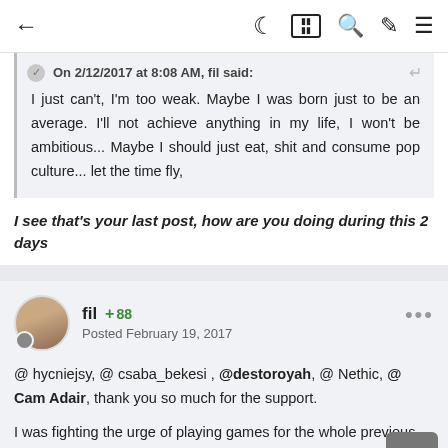← (navigation) ☾ ▦ 🔍 ✏ ≡
On 2/12/2017 at 8:08 AM, fil said: I just can't, I'm too weak. Maybe I was born just to be an average. I'll not achieve anything in my life, I won't be ambitious... Maybe I should just eat, shit and consume pop culture... let the time fly,
I see that's your last post, how are you doing during this 2 days
fil +88 Posted February 19, 2017
@ hycniejsy, @ csaba_bekesi , @destoroyah, @ Nethic, @ Cam Adair, thank you so much for the support.
I was fighting the urge of playing games for the whole previous week. I somehow haven't relapsed nevertheless I've watched